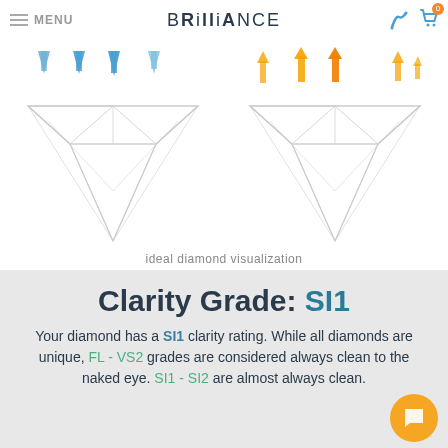MENU | BRILLIANCE
[Figure (illustration): Two diamond diagrams side by side. Left diamond has blue downward arrows indicating light entering. Right diamond has orange upward arrows indicating light reflecting out. Ideal diamond visualization.]
ideal diamond visualization
Clarity Grade: SI1
Your diamond has a SI1 clarity rating. While all diamonds are unique, FL - VS2 grades are considered always clean to the naked eye. SI1 - SI2 are almost always clean.